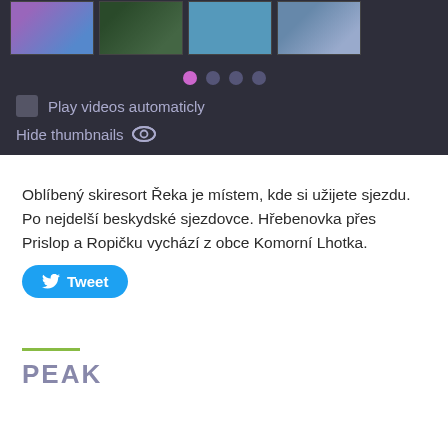[Figure (screenshot): Dark panel showing four video thumbnails at the top, pagination dots (one active purple, three gray), a checkbox labeled 'Play videos automaticly', and a 'Hide thumbnails' option with an eye icon.]
Oblíbený skiresort Řeka je místem, kde si užijete sjezdu. Po nejdelší beskydské sjezdovce. Hřebenovka přes Prislop a Ropičku vychází z obce Komorní Lhotka.
[Figure (other): Blue Twitter Tweet button with bird icon and text 'Tweet']
PEAK